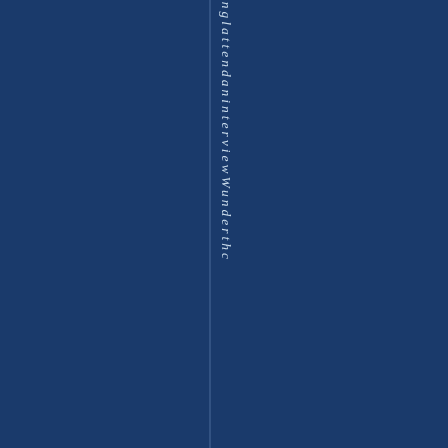[Figure (other): Dark navy blue background with a vertical dividing line and vertical italic text reading 'stin glattendaninterviewWunderthc' arranged character by character down the right-center area of the page.]